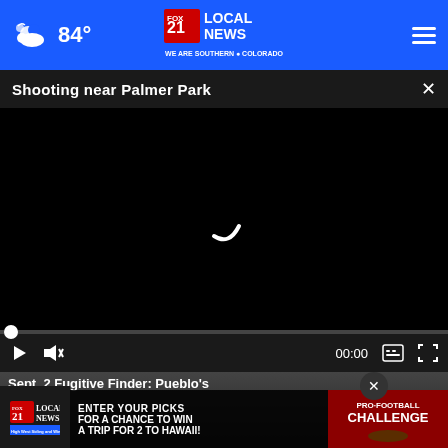[Figure (screenshot): FOX 21 Local News website header with blue background, weather icon showing 84°, FOX 21 LOCAL NEWS logo center, hamburger menu icon right]
Shooting near Palmer Park
[Figure (screenshot): Black video player area with loading spinner arc, progress bar at bottom with white dot, video controls bar showing play button, mute button, 00:00 timecode, subtitle and fullscreen icons]
[Figure (screenshot): Thumbnail strip showing partial image of person's face, overlaid with 'Sept. 2 Fugitive Finder: Pueblo's Mo...' text in white, and advertisement overlay for FOX 21 Pro Football Challenge: 'ENTER YOUR PICKS FOR A CHANCE TO WIN A TRIP FOR 2 TO HAWAII!']